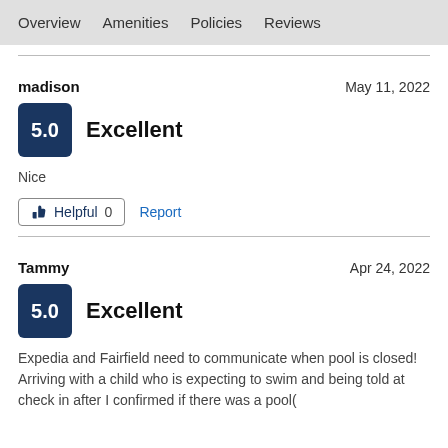Overview   Amenities   Policies   Reviews
madison   May 11, 2022
[Figure (other): Rating badge showing 5.0 in dark blue square, with label 'Excellent']
Nice
Helpful 0   Report
Tammy   Apr 24, 2022
[Figure (other): Rating badge showing 5.0 in dark blue square, with label 'Excellent']
Expedia and Fairfield need to communicate when pool is closed! Arriving with a child who is expecting to swim and being told at check in after I confirmed if there was a pool(